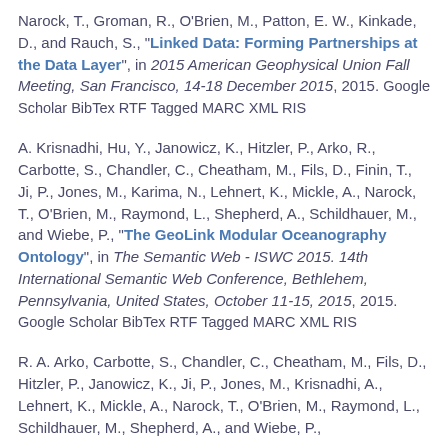Narock, T., Groman, R., O'Brien, M., Patton, E. W., Kinkade, D., and Rauch, S., "Linked Data: Forming Partnerships at the Data Layer", in 2015 American Geophysical Union Fall Meeting, San Francisco, 14-18 December 2015, 2015. Google Scholar BibTex RTF Tagged MARC XML RIS
A. Krisnadhi, Hu, Y., Janowicz, K., Hitzler, P., Arko, R., Carbotte, S., Chandler, C., Cheatham, M., Fils, D., Finin, T., Ji, P., Jones, M., Karima, N., Lehnert, K., Mickle, A., Narock, T., O'Brien, M., Raymond, L., Shepherd, A., Schildhauer, M., and Wiebe, P., "The GeoLink Modular Oceanography Ontology", in The Semantic Web - ISWC 2015. 14th International Semantic Web Conference, Bethlehem, Pennsylvania, United States, October 11-15, 2015, 2015. Google Scholar BibTex RTF Tagged MARC XML RIS
R. A. Arko, Carbotte, S., Chandler, C., Cheatham, M., Fils, D., Hitzler, P., Janowicz, K., Ji, P., Jones, M., Krisnadhi, A., Lehnert, K., Mickle, A., Narock, T., O'Brien, M., Raymond, L., Schildhauer, M., Shepherd, A., and Wiebe, P.